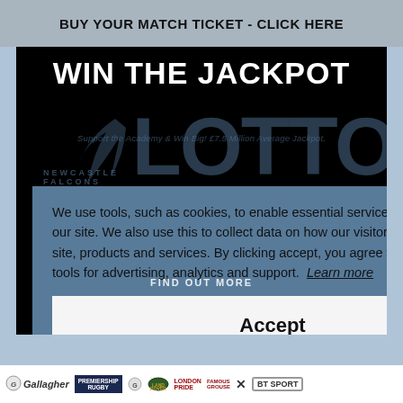BUY YOUR MATCH TICKET - CLICK HERE
WIN THE JACKPOT
We use tools, such as cookies, to enable essential services and functionality on our site. We also use this to collect data on how our visitors interact with our site, products and services. By clicking accept, you agree to our use of these tools for advertising, analytics and support.  Learn more
Accept
[Figure (logo): Footer sponsor logos: Gallagher, Premiership Rugby, Gallagher (small), Land Rover, London Pride, Famous Grouse, X, BT Sport]